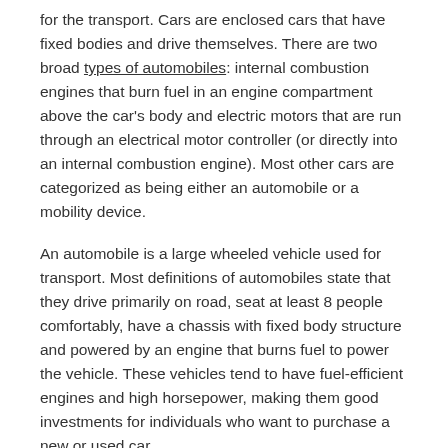for the transport. Cars are enclosed cars that have fixed bodies and drive themselves. There are two broad types of automobiles: internal combustion engines that burn fuel in an engine compartment above the car's body and electric motors that are run through an electrical motor controller (or directly into an internal combustion engine). Most other cars are categorized as being either an automobile or a mobility device.
An automobile is a large wheeled vehicle used for transport. Most definitions of automobiles state that they drive primarily on road, seat at least 8 people comfortably, have a chassis with fixed body structure and powered by an engine that burns fuel to power the vehicle. These vehicles tend to have fuel-efficient engines and high horsepower, making them good investments for individuals who want to purchase a new or used car.
Cars are designed to be driven by pedaling, which forces